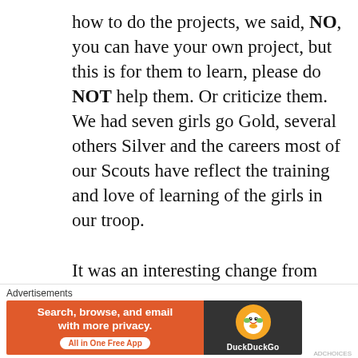how to do the projects, we said, NO, you can have your own project, but this is for them to learn, please do NOT help them. Or criticize them. We had seven girls go Gold, several others Silver and the careers most of our Scouts have reflect the training and love of learning of the girls in our troop.
It was an interesting change from my years as a Scout leader for my sons (the first allowed in our area, their Dad had taken off and
[Figure (other): DuckDuckGo advertisement banner: orange left panel with text 'Search, browse, and email with more privacy. All in One Free App', dark right panel with DuckDuckGo duck logo and brand name.]